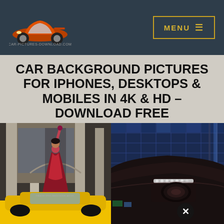CAR-PICTURES-DOWNLOAD.COM — MENU
CAR BACKGROUND PICTURES FOR IPHONES, DESKTOPS & MOBILES IN 4K & HD – DOWNLOAD FREE
[Figure (photo): Woman in red dress dancing/jumping in front of a building, with a yellow sports car below]
[Figure (photo): Close-up of a dark/black sports car headlight with blue glass building in background]